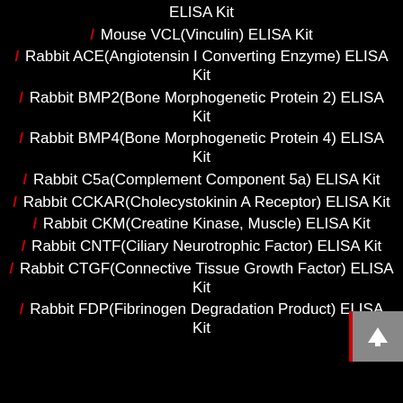ELISA Kit
/ Mouse VCL(Vinculin) ELISA Kit
/ Rabbit ACE(Angiotensin I Converting Enzyme) ELISA Kit
/ Rabbit BMP2(Bone Morphogenetic Protein 2) ELISA Kit
/ Rabbit BMP4(Bone Morphogenetic Protein 4) ELISA Kit
/ Rabbit C5a(Complement Component 5a) ELISA Kit
/ Rabbit CCKAR(Cholecystokinin A Receptor) ELISA Kit
/ Rabbit CKM(Creatine Kinase, Muscle) ELISA Kit
/ Rabbit CNTF(Ciliary Neurotrophic Factor) ELISA Kit
/ Rabbit CTGF(Connective Tissue Growth Factor) ELISA Kit
/ Rabbit FDP(Fibrinogen Degradation Product) ELISA Kit